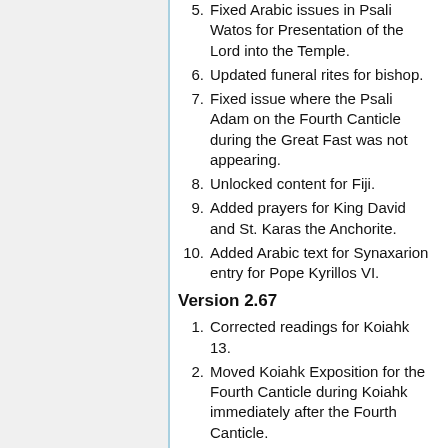5. Fixed Arabic issues in Psali Watos for Presentation of the Lord into the Temple.
6. Updated funeral rites for bishop.
7. Fixed issue where the Psali Adam on the Fourth Canticle during the Great Fast was not appearing.
8. Unlocked content for Fiji.
9. Added prayers for King David and St. Karas the Anchorite.
10. Added Arabic text for Synaxarion entry for Pope Kyrillos VI.
Version 2.67
1. Corrected readings for Koiahk 13.
2. Moved Koiahk Exposition for the Fourth Canticle during Koiahk immediately after the Fourth Canticle.
3. Made the alternate conclusion